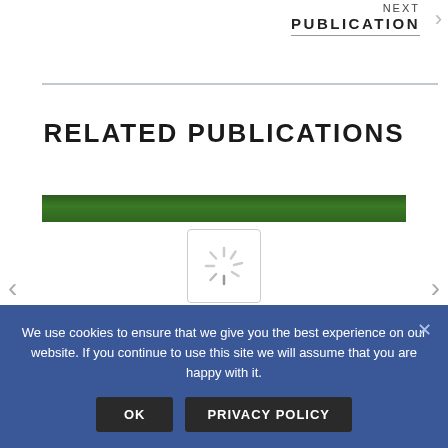NEXT
PUBLICATION
RELATED PUBLICATIONS
[Figure (photo): Carousel of related publications showing a green foliage image at top and a loading spinner below, with left and right navigation arrows]
We use cookies to ensure that we give you the best experience on our website. If you continue to use this site we will assume that you are happy with it.
OK
PRIVACY POLICY